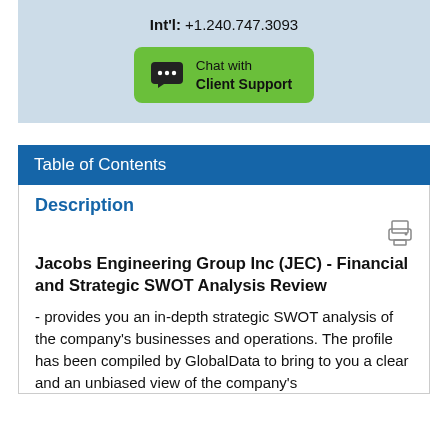Int'l: +1.240.747.3093
[Figure (other): Green chat button with speech bubble icon and text 'Chat with Client Support']
Table of Contents
Description
[Figure (other): Print icon]
Jacobs Engineering Group Inc (JEC) - Financial and Strategic SWOT Analysis Review
- provides you an in-depth strategic SWOT analysis of the company's businesses and operations. The profile has been compiled by GlobalData to bring to you a clear and an unbiased view of the company's